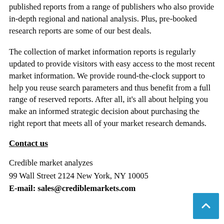published reports from a range of publishers who also provide in-depth regional and national analysis. Plus, pre-booked research reports are some of our best deals.
The collection of market information reports is regularly updated to provide visitors with easy access to the most recent market information. We provide round-the-clock support to help you reuse search parameters and thus benefit from a full range of reserved reports. After all, it's all about helping you make an informed strategic decision about purchasing the right report that meets all of your market research demands.
Contact us
Credible market analyzes
99 Wall Street 2124 New York, NY 10005
E-mail: sales@crediblemarkets.com